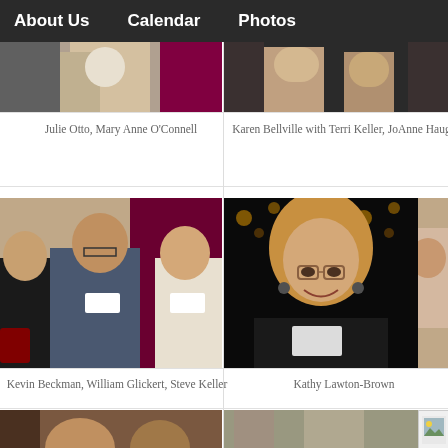About Us   Calendar   Photos
[Figure (photo): Partial photo top-left: Julie Otto, Mary Anne O'Connell]
[Figure (photo): Partial photo top-right: Karen Bellville with Terri Keller, JoAnne Hauge]
Julie Otto, Mary Anne O'Connell
Karen Bellville with Terri Keller, JoAnne Hauge
[Figure (photo): Kevin Beckman, William Glickert, Steve Keller at event]
[Figure (photo): Kathy Lawton-Brown smiling at event]
Kevin Beckman, William Glickert, Steve Keller
Kathy Lawton-Brown
[Figure (photo): Partial bottom-left photo of people at event]
[Figure (photo): Partial bottom-right photo of people at event]